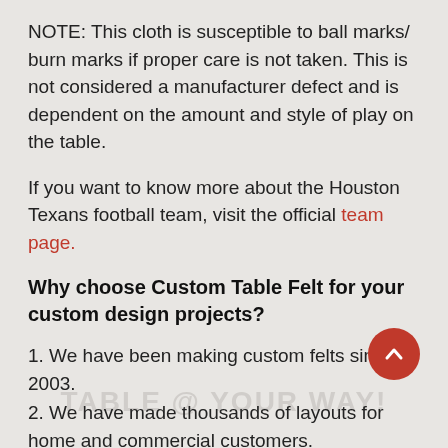NOTE: This cloth is susceptible to ball marks/ burn marks if proper care is not taken. This is not considered a manufacturer defect and is dependent on the amount and style of play on the table.
If you want to know more about the Houston Texans football team, visit the official team page.
Why choose Custom Table Felt for your custom design projects?
1. We have been making custom felts since 2003.
2. We have made thousands of layouts for home and commercial customers.
3. Our layouts last twice as long as other felts under normal use.
4. We are a family operated business that can be